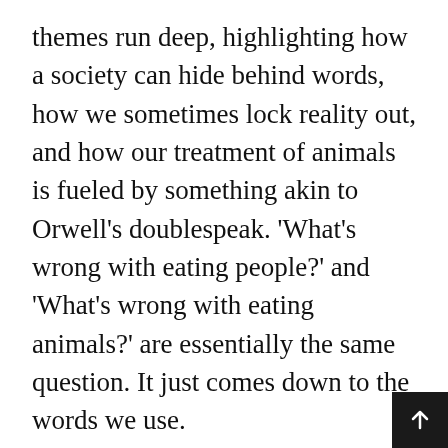themes run deep, highlighting how a society can hide behind words, how we sometimes lock reality out, and how our treatment of animals is fueled by something akin to Orwell's doublespeak. 'What's wrong with eating people?' and 'What's wrong with eating animals?' are essentially the same question. It just comes down to the words we use.
Agustina Bazterrica is an Argentinian novelist and short story writer. She is a central figure in the Buenos Aires literary scene. She has received several awards for her writing, most notably the prestigious Premio Clarin Novela for her second novel, Tender Is the Flesh